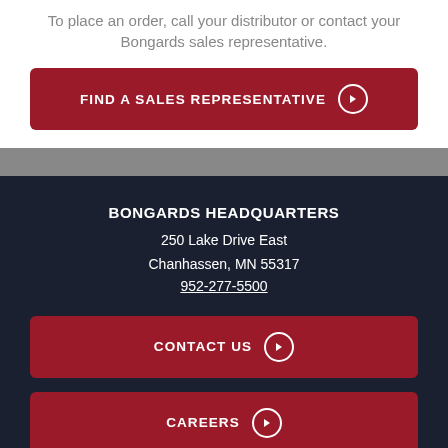To place an order, call your distributor or contact your Bongards sales representative.
FIND A SALES REPRESENTATIVE →
BONGARDS HEADQUARTERS
250 Lake Drive East
Chanhassen, MN 55317
952-277-5500
CONTACT US →
CAREERS →